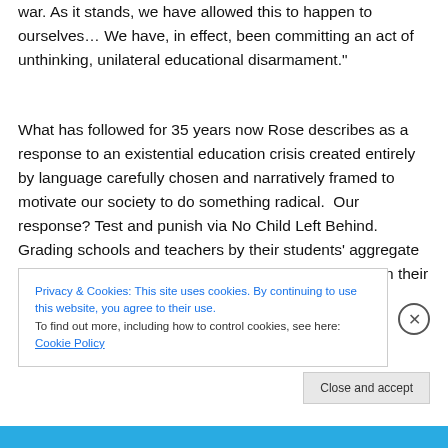war. As it stands, we have allowed this to happen to ourselves… We have, in effect, been committing an act of unthinking, unilateral educational disarmament."
What has followed for 35 years now Rose describes as a response to an existential education crisis created entirely by language carefully chosen and narratively framed to motivate our society to do something radical.  Our response? Test and punish via No Child Left Behind.  Grading schools and teachers by their students' aggregate test scores, including A-F grades imposed by states on their school districts and individual schools.  Closing so-
Privacy & Cookies: This site uses cookies. By continuing to use this website, you agree to their use.
To find out more, including how to control cookies, see here: Cookie Policy
Close and accept